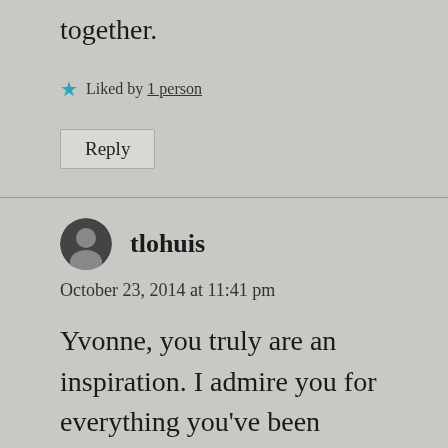together.
★ Liked by 1 person
Reply
tlohuis
October 23, 2014 at 11:41 pm
Yvonne, you truly are an inspiration. I admire you for everything you've been through and all of your